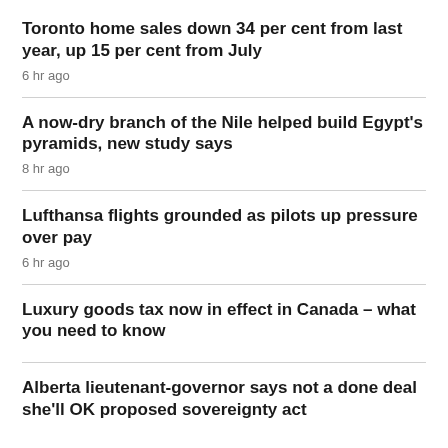Toronto home sales down 34 per cent from last year, up 15 per cent from July
6 hr ago
A now-dry branch of the Nile helped build Egypt's pyramids, new study says
8 hr ago
Lufthansa flights grounded as pilots up pressure over pay
6 hr ago
Luxury goods tax now in effect in Canada – what you need to know
Alberta lieutenant-governor says not a done deal she'll OK proposed sovereignty act